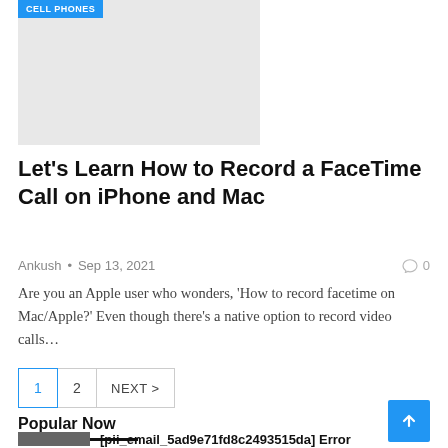[Figure (photo): Hero image placeholder with light gray background]
CELL PHONES
Let's Learn How to Record a FaceTime Call on iPhone and Mac
Ankush • Sep 13, 2021   0
Are you an Apple user who wonders, 'How to record facetime on Mac/Apple?' Even though there's a native option to record video calls…
1  2  NEXT >
Popular Now
[Figure (photo): Thumbnail image for popular article]
[pii_email_5ad9e71fd8c2493515da] Error Resolved 2022